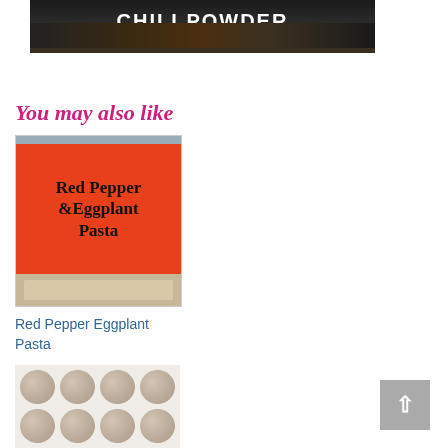[Figure (photo): Top of a black skillet with food and text overlay reading CHILI POWDER in white bold letters]
You may also like
[Figure (photo): Recipe card image: orange/red background with black text reading 'Red Pepper & Eggplant Pasta', with a photo of pasta dish at the bottom]
Red Pepper Eggplant Pasta
[Figure (photo): Photo of round cookie dough balls arranged in rows on a white baking sheet]